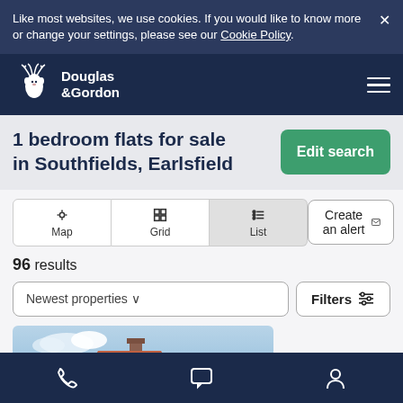Like most websites, we use cookies. If you would like to know more or change your settings, please see our Cookie Policy.
[Figure (logo): Douglas & Gordon deer logo, white on dark navy background]
1 bedroom flats for sale in Southfields, Earlsfield
Edit search
Map  Grid  List
Create an alert
96 results
Newest properties
Filters
[Figure (photo): Partial view of a house/building rooftop under a blue sky]
Under offer